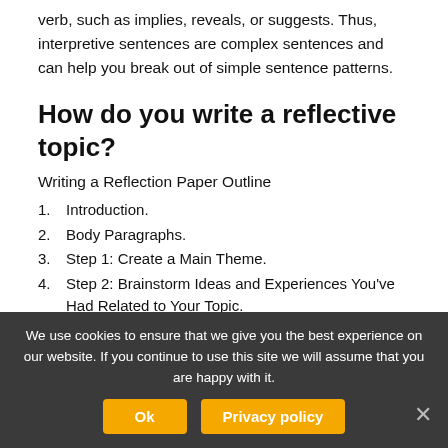verb, such as implies, reveals, or suggests. Thus, interpretive sentences are complex sentences and can help you break out of simple sentence patterns.
How do you write a reflective topic?
Writing a Reflection Paper Outline
1. Introduction.
2. Body Paragraphs.
3. Step 1: Create a Main Theme.
4. Step 2: Brainstorm Ideas and Experiences You've Had Related to Your Topic.
5. Step 3: Analyse How and Why These Ideas and
We use cookies to ensure that we give you the best experience on our website. If you continue to use this site we will assume that you are happy with it.